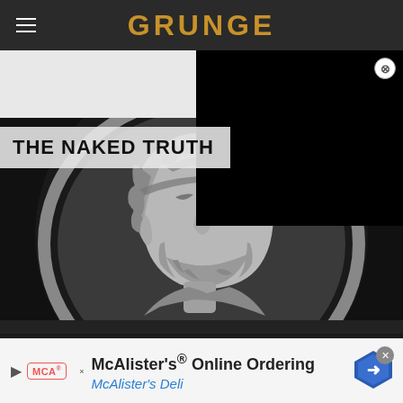GRUNGE
THE NAKED TRUTH
[Figure (photo): Black and white photograph of a classical Roman sculpture bust medallion — a bearded male figure in profile, with curly hair and detailed stonework, set in an oval relief frame]
McAlister's® Online Ordering  McAlister's Deli